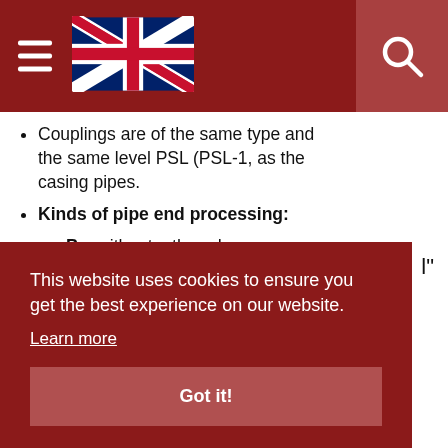Navigation bar with hamburger menu, UK flag, and search icon
Couplings are of the same type and the same level PSL (PSL-1, as the casing pipes.
Kinds of pipe end processing:
P – without a thread;
SC – short triangular thread;
LC – long triangular thread;
This website uses cookies to ensure you get the best experience on our website.
Learn more
Got it!